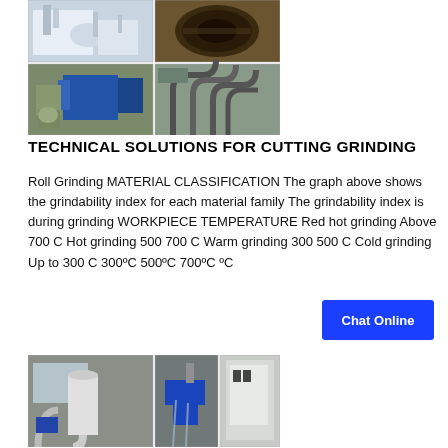[Figure (photo): Grid of four industrial grinding/milling facility photos showing large equipment, pipes, and machinery]
TECHNICAL SOLUTIONS FOR CUTTING GRINDING
Roll Grinding MATERIAL CLASSIFICATION The graph above shows the grindability index for each material family The grindability index is during grinding WORKPIECE TEMPERATURE Red hot grinding Above 700 C Hot grinding 500 700 C Warm grinding 300 500 C Cold grinding Up to 300 C 300ºC 500ºC 700ºC ºC
[Figure (photo): Three industrial grinding machine photos showing mill components, pipes, and motors]
Chat Online